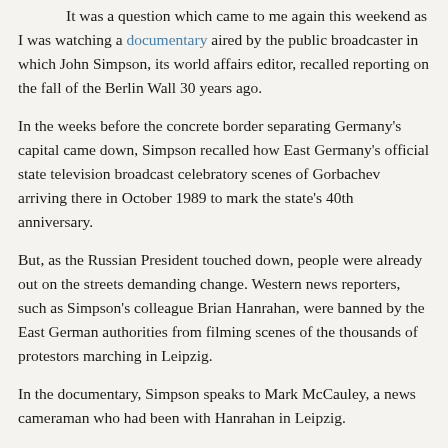It was a question which came to me again this weekend as I was watching a documentary aired by the public broadcaster in which John Simpson, its world affairs editor, recalled reporting on the fall of the Berlin Wall 30 years ago.
In the weeks before the concrete border separating Germany's capital came down, Simpson recalled how East Germany's official state television broadcast celebratory scenes of Gorbachev arriving there in October 1989 to mark the state's 40th anniversary.
But, as the Russian President touched down, people were already out on the streets demanding change. Western news reporters, such as Simpson's colleague Brian Hanrahan, were banned by the East German authorities from filming scenes of the thousands of protestors marching in Leipzig.
In the documentary, Simpson speaks to Mark McCauley, a news cameraman who had been with Hanrahan in Leipzig.